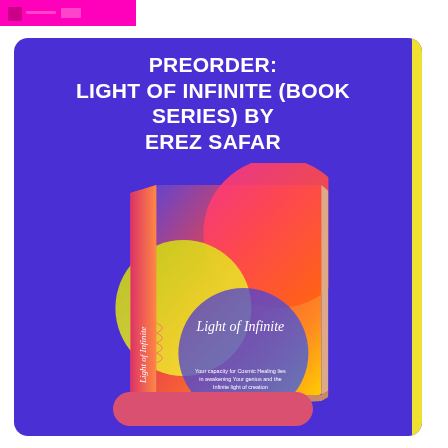[Figure (logo): Pink/magenta header bar with a small icon resembling a figure or logo in magenta and white]
PREORDER: LIGHT OF INFINITE (BOOK SERIES) BY EREZ SAFAR
[Figure (photo): 3D rendered book cover for 'Light of Infinite' by Erez Safar. The cover features vibrant gradient colors — pink, orange, red, yellow, blue and purple — with circular/wave abstract shapes. The spine is pink/orange. The title 'Light of Infinite' is displayed in white serif text on the cover.]